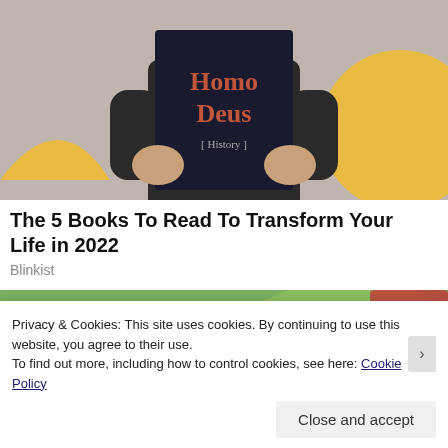[Figure (photo): Person holding up a dark book titled 'Homo Deus' covering their face, with yellow geometric shape in background]
The 5 Books To Read To Transform Your Life in 2022
Blinkist
[Figure (photo): Close-up of a hand holding a metal tube/pen-like object against a blurred green background]
Privacy & Cookies: This site uses cookies. By continuing to use this website, you agree to their use.
To find out more, including how to control cookies, see here: Cookie Policy
Close and accept